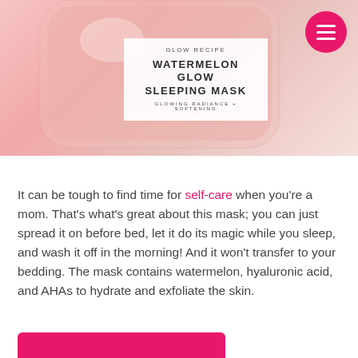[Figure (photo): Product photo of Glow Recipe Watermelon Glow Sleeping Mask jar. The jar is a rounded square transparent glass container filled with pink product, featuring a white label that reads: GLOW RECIPE / WATERMELON GLOW SLEEPING MASK / GLOWING RADIANCE + SOFTENING. A hot pink circular menu icon with three white horizontal lines appears in the top-right corner.]
It can be tough to find time for self-care when you're a mom. That's what's great about this mask; you can just spread it on before bed, let it do its magic while you sleep, and wash it off in the morning! And it won't transfer to your bedding. The mask contains watermelon, hyaluronic acid, and AHAs to hydrate and exfoliate the skin.